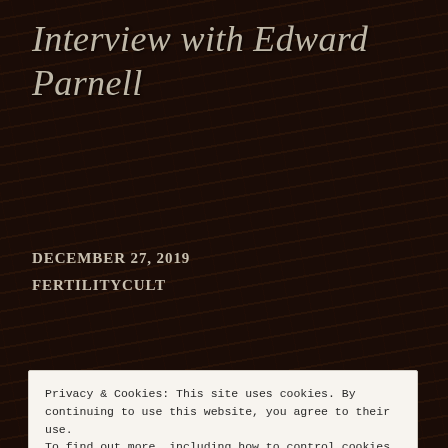Interview with Edward Parnell
DECEMBER 27, 2019
FERTILITYCULT
[Figure (illustration): Partial view of a book cover or illustration with decorative engraving-style imagery, partially obscured by cookie banner]
Privacy & Cookies: This site uses cookies. By continuing to use this website, you agree to their use.
To find out more, including how to control cookies, see here: Cookie Policy
Close and accept